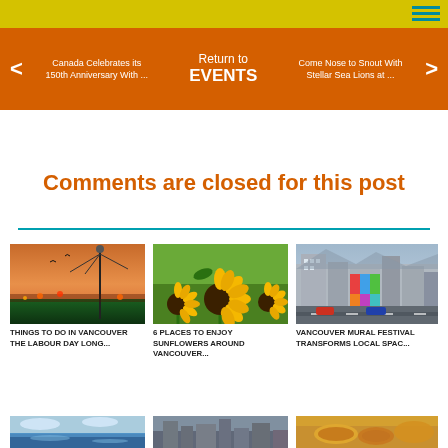< Canada Celebrates its 150th Anniversary With ... | Return to EVENTS | Come Nose to Snout With Stellar Sea Lions at ... >
Comments are closed for this post
THINGS TO DO IN VANCOUVER THE LABOUR DAY LONG...
6 PLACES TO ENJOY SUNFLOWERS AROUND VANCOUVER...
VANCOUVER MURAL FESTIVAL TRANSFORMS LOCAL SPAC...